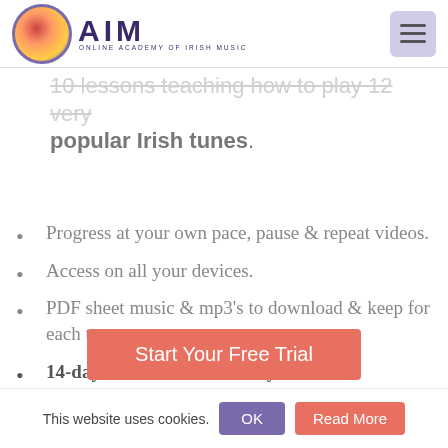AIM Online Academy of Irish Music
popular Irish tunes.
Progress at your own pace, pause & repeat videos.
Access on all your devices.
PDF sheet music & mp3's to download & keep for each tune.
14-day free trial. Cancel anytime.
Access to 14 instruments, 40+ courses, 700+ tutorials
Start Your Free Trial
This website uses cookies. OK Read More